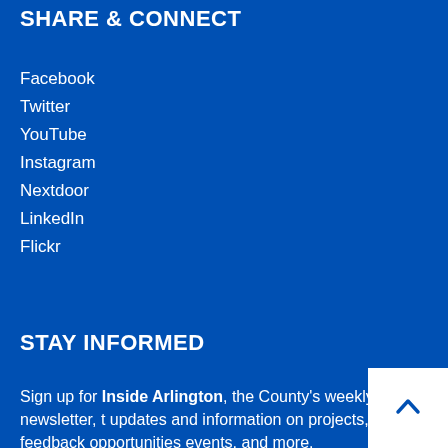SHARE & CONNECT
Facebook
Twitter
YouTube
Instagram
Nextdoor
LinkedIn
Flickr
STAY INFORMED
Sign up for Inside Arlington, the County's weekly newsletter, the latest updates and information on projects, feedback opportunities for upcoming events, and more.